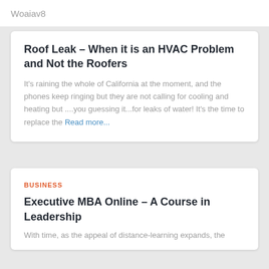Woaiav8
Roof Leak – When it is an HVAC Problem and Not the Roofers
It's raining the whole of California at the moment, and the phones keep ringing but they are not calling for cooling and heating but ....you guessing it...for leaks of water! It's the time to replace the Read more...
BUSINESS
Executive MBA Online – A Course in Leadership
With time, as the appeal of distance-learning expands, the